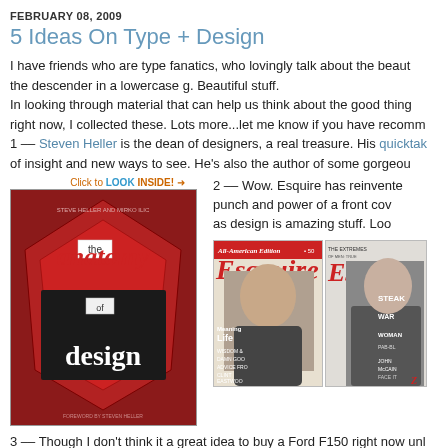FEBRUARY 08, 2009
5 Ideas On Type + Design
I have friends who are type fanatics, who lovingly talk about the beauty of the descender in a lowercase g. Beautiful stuff. In looking through material that can help us think about the good things right now, I collected these. Lots more...let me know if you have recommendations. 1 -- Steven Heller is the dean of designers, a real treasure. His quicktake of insight and new ways to see. He's also the author of some gorgeous
[Figure (photo): Book cover: 'The Anatomy of Design' with red background and typographic treatment. Shows 'the anatomy of design' text in layered style.]
2 -- Wow. Esquire has reinvented the punch and power of a front cover as design is amazing stuff. Loo
[Figure (photo): Two Esquire magazine covers showing 'All-American Edition' with Clint Eastwood and another cover with a man in a suit.]
3 -- Though I don't think it a great idea to buy a Ford F150 right now unl